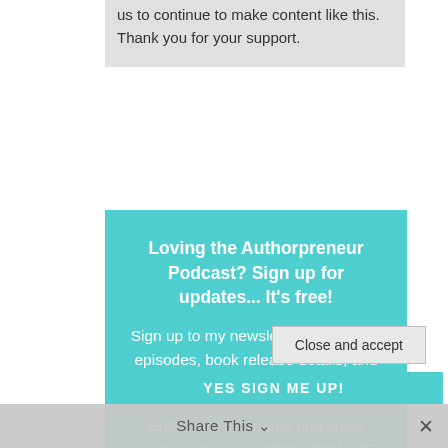us to continue to make content like this. Thank you for your support.
Loving the Authorpreneur Podcast? Sign up for updates... It's free! Sign up to my newsletter for podcast episodes, book release details, and offers. Enter your first name and email address then click "YES, SIGN ME UP!"
Privacy & Cookies: This site uses cookies. By continuing to use this website, you agree to their use. To find out more, including how to control cookies, see here: Cookie Policy
Close and accept
Share This